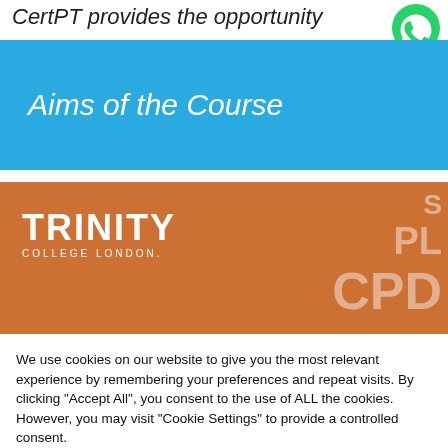CertPT provides the opportunity
[Figure (logo): WhatsApp green phone icon bubble]
Aims of the Course
[Figure (logo): Trinity College London logo on orange background with decorative CPD text overlay]
We use cookies on our website to give you the most relevant experience by remembering your preferences and repeat visits. By clicking "Accept All", you consent to the use of ALL the cookies. However, you may visit "Cookie Settings" to provide a controlled consent.
Cookie Settings | Accept All